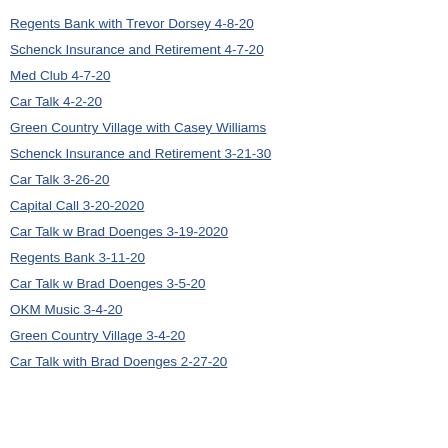Regents Bank with Trevor Dorsey 4-8-20
Schenck Insurance and Retirement 4-7-20
Med Club 4-7-20
Car Talk 4-2-20
Green Country Village with Casey Williams
Schenck Insurance and Retirement 3-21-30
Car Talk 3-26-20
Capital Call 3-20-2020
Car Talk w Brad Doenges 3-19-2020
Regents Bank 3-11-20
Car Talk w Brad Doenges 3-5-20
OKM Music 3-4-20
Green Country Village 3-4-20
Car Talk with Brad Doenges 2-27-20